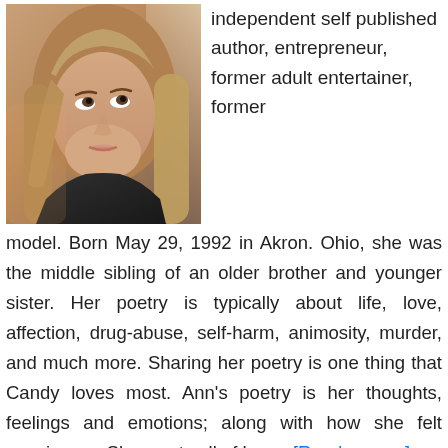[Figure (photo): Portrait photo of a young woman with long blonde/brown hair, looking upward, near a window with soft light]
independent self published author, entrepreneur, former adult entertainer, former model. Born May 29, 1992 in Akron. Ohio, she was the middle sibling of an older brother and younger sister. Her poetry is typically about life, love, affection, drug-abuse, self-harm, animosity, murder, and much more. Sharing her poetry is one thing that Candy loves most. Ann's poetry is her thoughts, feelings and emotions; along with how she felt growing up. She wants all of her... [Read more...]